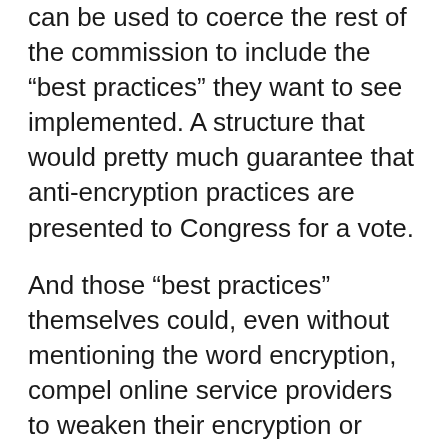can be used to coerce the rest of the commission to include the “best practices” they want to see implemented. A structure that would pretty much guarantee that anti-encryption practices are presented to Congress for a vote.
And those “best practices” themselves could, even without mentioning the word encryption, compel online service providers to weaken their encryption or even stop providing encryption altogether, for fear of not adhering to the standards defined by the “best practices” and exposing themselves to litigation.
The ACLU also argues in that direction. In a letter it sent to the U.S. Senate Judiciary Committee, it wrote: